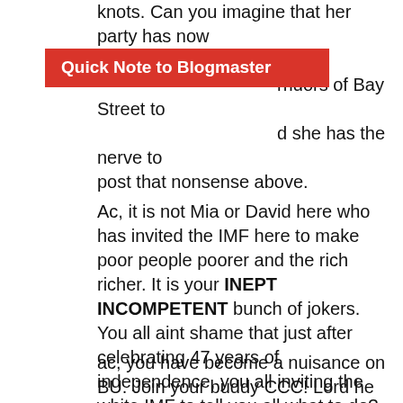knots. Can you imagine that her party has now corridors of Bay Street to d she has the nerve to post that nonsense above.
Quick Note to Blogmaster
Ac, it is not Mia or David here who has invited the IMF here to make poor people poorer and the rich richer. It is your INEPT INCOMPETENT bunch of jokers. You all aint shame that just after celebrating 47 years of independence, you all inviting the white IMF to tell you all what to do? This DLP has embraced Jada, Innotech and Preconco giving them all the contracts while the poor contractors whom this DLP promised 40% of all government work cannot get a contract.
ac, you have become a nuisance on BU. Join your buddy CCC! Lord he so shame he is gone into hiding or blogging under another moniker!